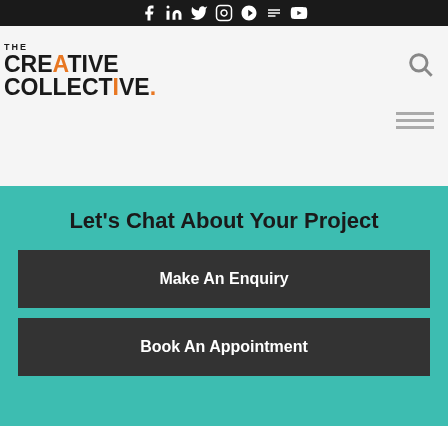Social media icons bar (Facebook, LinkedIn, Twitter, Instagram, Pinterest, RSS, YouTube)
[Figure (logo): The Creative Collective logo with orange accents on A and I letters and orange dot]
Let's Chat About Your Project
Make An Enquiry
Book An Appointment